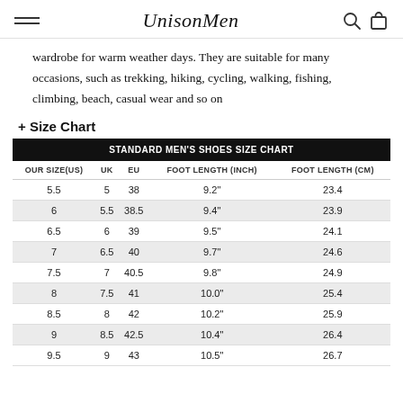UnisonMen
wardrobe for warm weather days. They are suitable for many occasions, such as trekking, hiking, cycling, walking, fishing, climbing, beach, casual wear and so on
+ Size Chart
| STANDARD MEN'S SHOES SIZE CHART |
| --- |
| OUR SIZE(US) | UK | EU | FOOT LENGTH (INCH) | FOOT LENGTH (CM) |
| 5.5 | 5 | 38 | 9.2" | 23.4 |
| 6 | 5.5 | 38.5 | 9.4" | 23.9 |
| 6.5 | 6 | 39 | 9.5" | 24.1 |
| 7 | 6.5 | 40 | 9.7" | 24.6 |
| 7.5 | 7 | 40.5 | 9.8" | 24.9 |
| 8 | 7.5 | 41 | 10.0" | 25.4 |
| 8.5 | 8 | 42 | 10.2" | 25.9 |
| 9 | 8.5 | 42.5 | 10.4" | 26.4 |
| 9.5 | 9 | 43 | 10.5" | 26.7 |